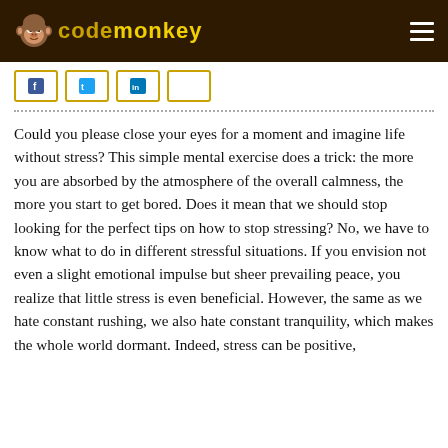CodeMonkey
Could you please close your eyes for a moment and imagine life without stress? This simple mental exercise does a trick: the more you are absorbed by the atmosphere of the overall calmness, the more you start to get bored. Does it mean that we should stop looking for the perfect tips on how to stop stressing? No, we have to know what to do in different stressful situations. If you envision not even a slight emotional impulse but sheer prevailing peace, you realize that little stress is even beneficial. However, the same as we hate constant rushing, we also hate constant tranquility, which makes the whole world dormant. Indeed, stress can be positive,